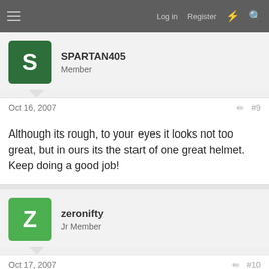Log in  Register
SPARTAN405
Member
Oct 16, 2007  #9
Although its rough, to your eyes it looks not too great, but in ours its the start of one great helmet. Keep doing a good job!
zeronifty
Jr Member
Oct 17, 2007  #10
BlueRealm said:
Nice. Looks good.